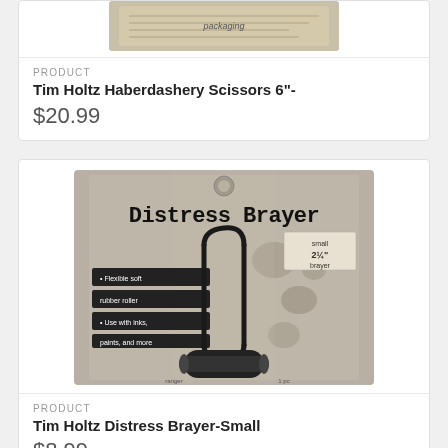[Figure (photo): Partial product image of Tim Holtz Haberdashery Scissors packaging (cropped at top)]
PRODUCT
Tim Holtz Haberdashery Scissors 6"-
$20.99
[Figure (photo): Product packaging photo of Tim Holtz Distress Brayer - Small, black and white image showing the brayer tool with rubber roller and wire handle on distressed patterned card packaging]
PRODUCT
Tim Holtz Distress Brayer-Small
$8.99